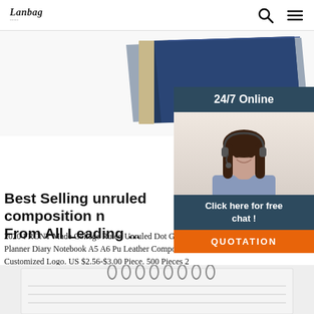Lanbag | 24/7 Online
[Figure (photo): Blue notebook/composition book product photo at top of page]
[Figure (photo): 24/7 Online customer service agent panel with female agent wearing headset and chat/quotation CTA]
Best Selling unruled composition n From All Leading ...
2020 FRONT Made College Ruled Unruled Dot Grid S Planner Diary Notebook A5 A6 Pu Leather Compositi Customized Logo. US $2.56-$3.00 Piece. 500 Pieces 2 YRS Shen Zhen City Front Industry Co., Ltd.
[Figure (photo): Spiral-bound notebook product image at the bottom of the page]